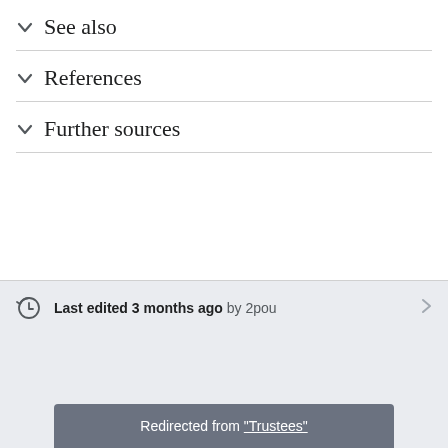See also
References
Further sources
Last edited 3 months ago by 2pou
Redirected from "Trustees"